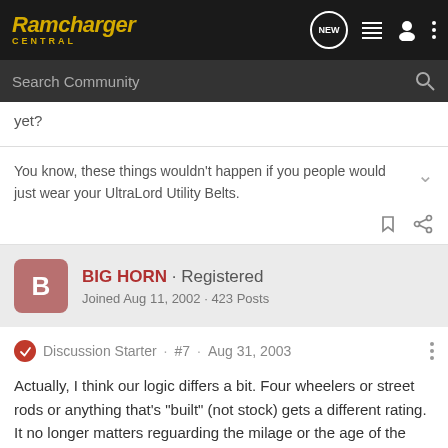Ramcharger Central
yet?
You know, these things wouldn't happen if you people would just wear your UltraLord Utility Belts.
BIG HORN · Registered
Joined Aug 11, 2002 · 423 Posts
Discussion Starter · #7 · Aug 31, 2003
Actually, I think our logic differs a bit. Four wheelers or street rods or anything that's "built" (not stock) gets a different rating. It no longer matters reguarding the milage or the age of the